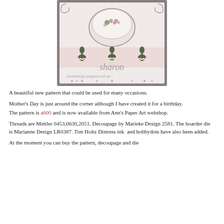[Figure (illustration): A handmade craft card featuring an oval trinket box with flowers on a pink/grey background, decorated with scrollwork border dies, the name 'sharon' in script, and the URL sunshine2go.blogspot.com.au]
A beautiful new pattern that could be used for many occasions.
Mother's Day is just around the corner although I have created it for a birthday.
The pattern is a600 and is now available from Ann's Paper Art webshop.
Threads are Mettler 0453,0630,2051. Decoupage by Marieke Design 2581. The boarder die is Marianne Design LR0387. Tim Holtz Distress ink  and hobbydots have also been added.
At the moment you can buy the pattern, decoupage and die